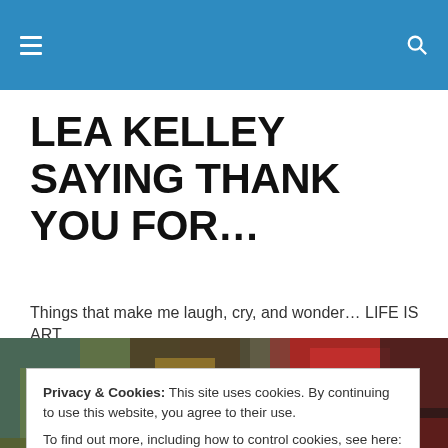Lea Kelley Saying Thank You For... [site header bar with hamburger menu and search icon]
LEA KELLEY SAYING THANK YOU FOR…
Things that make me laugh, cry, and wonder… LIFE IS ART.
[Figure (photo): Abstract painting with colorful mixed textures — greens, yellows, reds, and dark tones across the composition.]
Privacy & Cookies: This site uses cookies. By continuing to use this website, you agree to their use.
To find out more, including how to control cookies, see here: Cookie Policy
Close and accept
ART BY LEA KELLEY